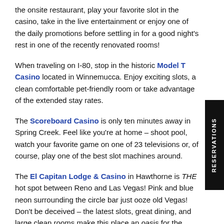the onsite restaurant, play your favorite slot in the casino, take in the live entertainment or enjoy one of the daily promotions before settling in for a good night's rest in one of the recently renovated rooms!
When traveling on I-80, stop in the historic Model T Casino located in Winnemucca. Enjoy exciting slots, a clean comfortable pet-friendly room or take advantage of the extended stay rates.
The Scoreboard Casino is only ten minutes away in Spring Creek. Feel like you're at home – shoot pool, watch your favorite game on one of 23 televisions or, of course, play one of the best slot machines around.
The El Capitan Lodge & Casino in Hawthorne is THE hot spot between Reno and Las Vegas! Pink and blue neon surrounding the circle bar just ooze old Vegas! Don't be deceived – the latest slots, great dining, and large clean rooms make this place an oasis for the weary traveler.